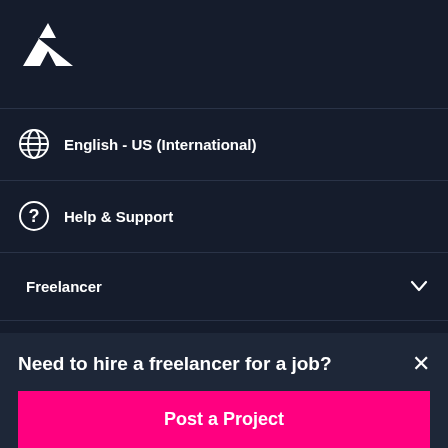[Figure (logo): Freelancer.com bird/arrow logo in white on dark navy background]
English - US (International)
Help & Support
Freelancer
About
Terms
Need to hire a freelancer for a job?
Post a Project